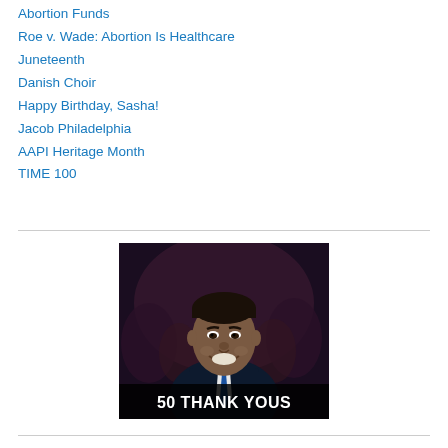Abortion Funds
Roe v. Wade: Abortion Is Healthcare
Juneteenth
Danish Choir
Happy Birthday, Sasha!
Jacob Philadelphia
AAPI Heritage Month
TIME 100
[Figure (photo): A smiling man in a dark suit and blue tie on a dark background, with the text '50 THANK YOUS' overlaid at the bottom in large white bold letters on a dark semi-transparent banner.]